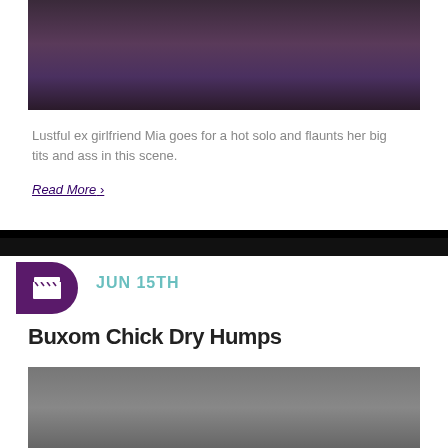[Figure (photo): Partial view of a person on a dark purple/black background, lower body visible]
Lustful ex girlfriend Mia goes for a hot solo and flaunts her big tits and ass in this scene.
Read More ›
JUN 15TH
Buxom Chick Dry Humps
[Figure (photo): A woman with dark hair, arms raised, against a gray background]